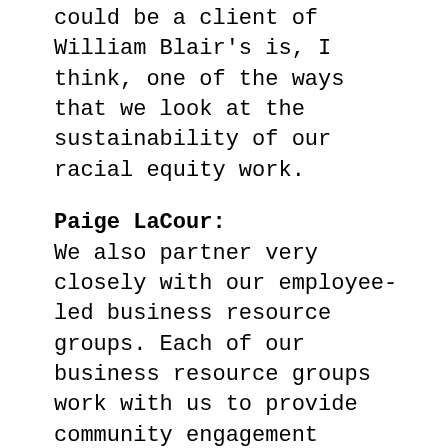could be a client of William Blair's is, I think, one of the ways that we look at the sustainability of our racial equity work.
Paige LaCour: We also partner very closely with our employee-led business resource groups. Each of our business resource groups work with us to provide community engagement funding to the organizations that are important and vital to their constituents. As an example, we have partnered with the YWCA Until Justice Just Is campaign, all of the resource groups that are collaborating together on that initiative to raise awareness about how we can educate ourselves and others to take a